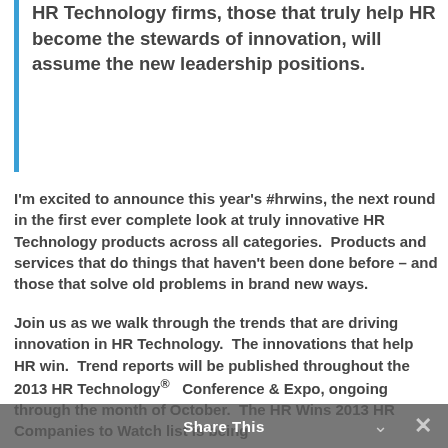HR Technology firms, those that truly help HR become the stewards of innovation, will assume the new leadership positions.
I'm excited to announce this year's #hrwins, the next round in the first ever complete look at truly innovative HR Technology products across all categories.  Products and services that do things that haven't been done before – and those that solve old problems in brand new ways.
Join us as we walk through the trends that are driving innovation in HR Technology.  The innovations that help HR win.  Trend reports will be published throughout the 2013 HR Technology® Conference & Expo, ongoing through the month of October.  The HR Wins 2013 HR Companies to Watch list is being
Share This